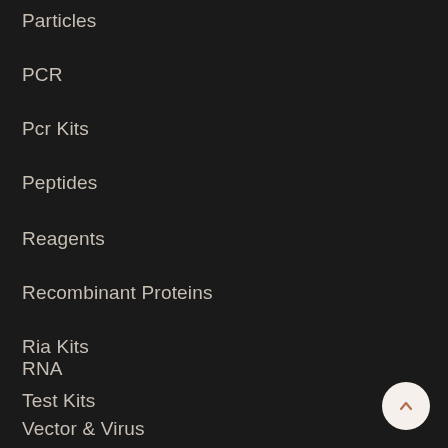Particles
PCR
Pcr Kits
Peptides
Reagents
Recombinant Proteins
Ria Kits
RNA
Test Kits
Vector & Virus